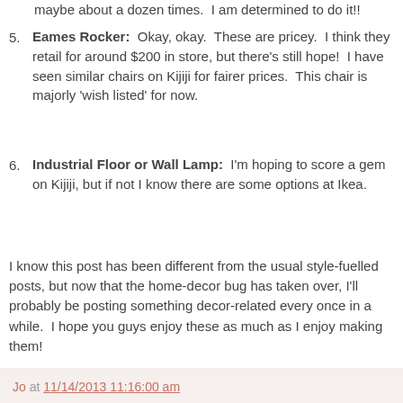maybe about a dozen times.  I am determined to do it!!
Eames Rocker: Okay, okay.  These are pricey.  I think they retail for around $200 in store, but there's still hope!  I have seen similar chairs on Kijiji for fairer prices.  This chair is majorly 'wish listed' for now.
Industrial Floor or Wall Lamp:  I'm hoping to score a gem on Kijiji, but if not I know there are some options at Ikea.
I know this post has been different from the usual style-fuelled posts, but now that the home-decor bug has taken over, I'll probably be posting something decor-related every once in a while.  I hope you guys enjoy these as much as I enjoy making them!
Jo at 11/14/2013 11:16:00 am